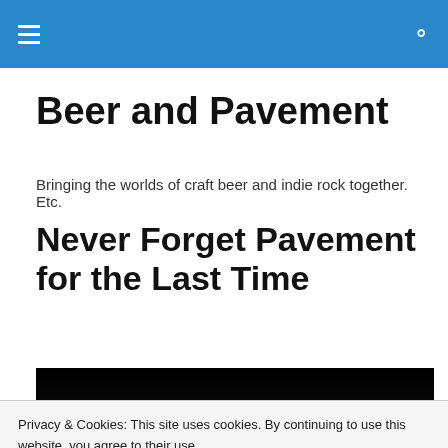Beer and Pavement — site navigation header
Beer and Pavement
Bringing the worlds of craft beer and indie rock together. Etc.
Never Forget Pavement for the Last Time
[Figure (photo): Dark concert/band photo partially visible at bottom of page]
Privacy & Cookies: This site uses cookies. By continuing to use this website, you agree to their use.
To find out more, including how to control cookies, see here: Cookie Policy
Close and accept